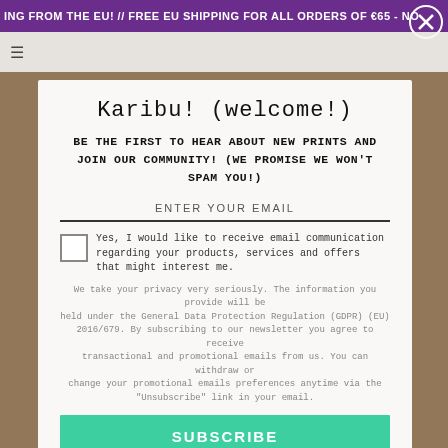ING FROM THE EU! // FREE EU SHIPPING FOR ALL ORDERS OF €65 - NO
Karibu! (welcome!)
BE THE FIRST TO HEAR ABOUT NEW PRINTS AND JOIN OUR COMMUNITY! (WE PROMISE WE WON'T SPAM YOU!)
ENTER YOUR EMAIL
Yes, I would like to receive email communication regarding your products, services and offers that might interest me.
We take your privacy very seriously. The information you provide will be held under the General Data Protection Regulation (GDPR) (EU) 2016/679. By subscribing to our newsletter you agree to receive transactional and promotional emails from us. You can withdraw or change your promotional emails preferences anytime via the "Unsubscribe" link in your email.
SUBSCRIBE